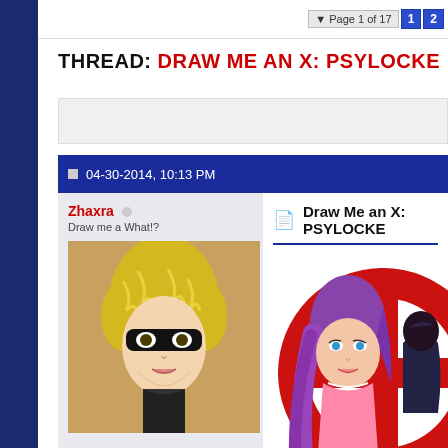Page 1 of 17  1  2
THREAD: DRAW ME AN X: PSYLOCKE
04-30-2014, 10:13 PM
Zhaxra
Draw me a What!?
Join Date: Apr 2014
Location: Somewhere
Posts: 203
[Figure (photo): User avatar showing an anime-style character with yellow wavy hair and a black eye mask]
Draw Me an X: PSYLOCKE
[Figure (illustration): Anime-style illustration of Psylocke character with purple hair and pink outfit, set against a large red circular X-Men logo]